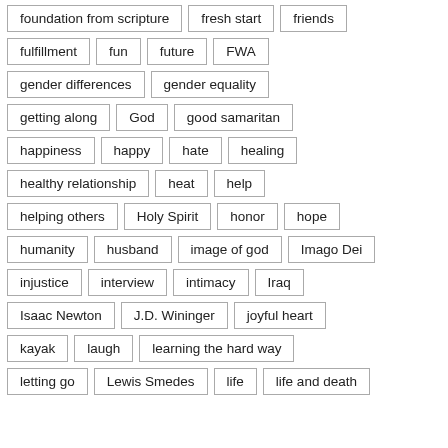foundation from scripture
fresh start
friends
fulfillment
fun
future
FWA
gender differences
gender equality
getting along
God
good samaritan
happiness
happy
hate
healing
healthy relationship
heat
help
helping others
Holy Spirit
honor
hope
humanity
husband
image of god
Imago Dei
injustice
interview
intimacy
Iraq
Isaac Newton
J.D. Wininger
joyful heart
kayak
laugh
learning the hard way
letting go
Lewis Smedes
life
life and death